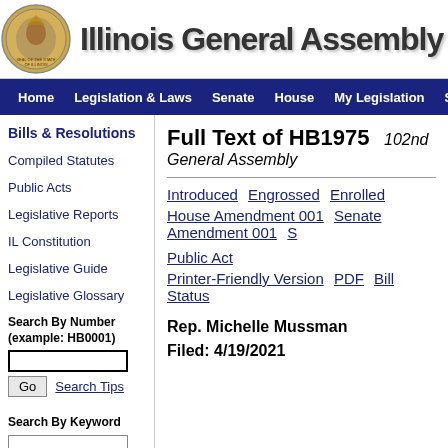[Figure (logo): Illinois state seal circular emblem on left, followed by 'Illinois General Assembly' header text in large bold font]
Home  Legislation & Laws  Senate  House  My Legislation  Site Map
Bills & Resolutions
Compiled Statutes
Public Acts
Legislative Reports
IL Constitution
Legislative Guide
Legislative Glossary
Search By Number
(example: HB0001)
Go  Search Tips
Search By Keyword
Full Text of HB1975  102nd General Assembly
Introduced  Engrossed  Enrolled
House Amendment 001  Senate Amendment 001  S
Public Act
Printer-Friendly Version  PDF  Bill Status
Rep. Michelle Mussman
Filed: 4/19/2021